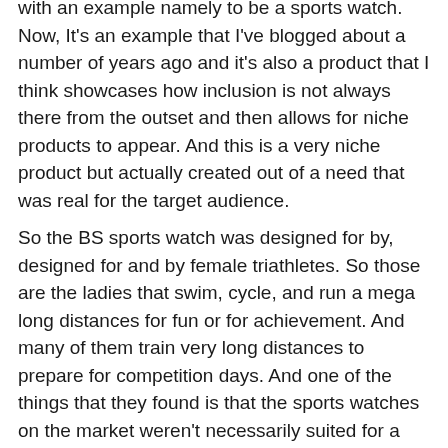with an example namely to be a sports watch. Now, It's an example that I've blogged about a number of years ago and it's also a product that I think showcases how inclusion is not always there from the outset and then allows for niche products to appear. And this is a very niche product but actually created out of a need that was real for the target audience.
So the BS sports watch was designed for by, designed for and by female triathletes. So those are the ladies that swim, cycle, and run a mega long distances for fun or for achievement. And many of them train very long distances to prepare for competition days. And one of the things that they found is that the sports watches on the market weren't necessarily suited for a female wrists or for their sport because you know, it needs to be waterproof, it needs to be a long lasting battery. It also needs to still be visible so that you can see the various statistics that you may want to see in this situation. So what the ladies did first before